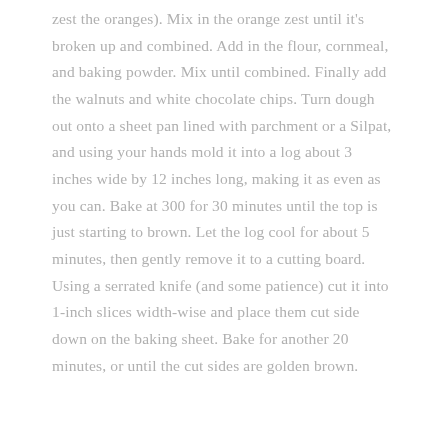zest the oranges). Mix in the orange zest until it's broken up and combined. Add in the flour, cornmeal, and baking powder. Mix until combined. Finally add the walnuts and white chocolate chips. Turn dough out onto a sheet pan lined with parchment or a Silpat, and using your hands mold it into a log about 3 inches wide by 12 inches long, making it as even as you can. Bake at 300 for 30 minutes until the top is just starting to brown. Let the log cool for about 5 minutes, then gently remove it to a cutting board. Using a serrated knife (and some patience) cut it into 1-inch slices width-wise and place them cut side down on the baking sheet. Bake for another 20 minutes, or until the cut sides are golden brown.